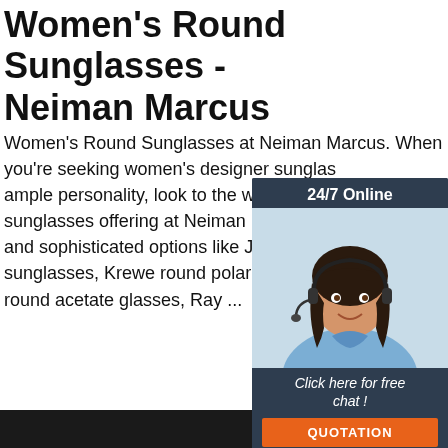Women's Round Sunglasses - Neiman Marcus
Women's Round Sunglasses at Neiman Marcus. When you're seeking women's designer sunglasses ample personality, look to the women's designer sunglasses offering at Neiman Marcus. W and sophisticated options like Jimmy Cho sunglasses, Krewe round polarized sungl round acetate glasses, Ray ...
[Figure (illustration): Chat widget with woman wearing headset, 24/7 Online header, 'Click here for free chat!' text, and orange QUOTATION button]
Get Price
[Figure (illustration): Orange TOP button with dots above it indicating scroll to top]